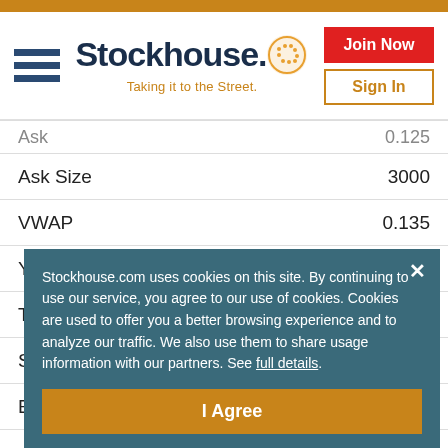[Figure (logo): Stockhouse logo with hamburger menu, logo text, tagline 'Taking it to the Street.', Join Now and Sign In buttons]
| Field | Value |
| --- | --- |
| Ask | 0.125 |
| Ask Size | 3000 |
| VWAP | 0.135 |
| Year Low | 0.125 |
| Total Shares | 7.06m |
| Shares Out | 7.06m |
| Exchange | CSE |
Stockhouse.com uses cookies on this site. By continuing to use our service, you agree to our use of cookies. Cookies are used to offer you a better browsing experience and to analyze our traffic. We also use them to share usage information with our partners. See full details.